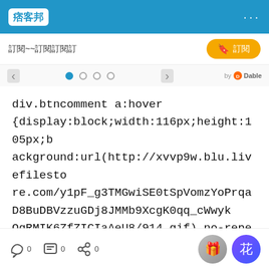痞客邦 ···
訂閱~~訂閱訂閱訂   訂閱
div.btncomment a:hover {display:block;width:116px;height:105px;background:url(http://xvvp9w.blu.livefilestore.com/y1pF_g3TMGwiSE0tSpVomzYoPrqaD8BuDBVzzuGDj8JMMb9XcgK0qq_cWwykOgRMIK6ZfZICIaAeU8/914.gif) no-repeat;} div.btntrackback a:hover {display:block;width:116px;height:105px;background:url(http://xvvp9w.blu.livefilesto
0  0  0